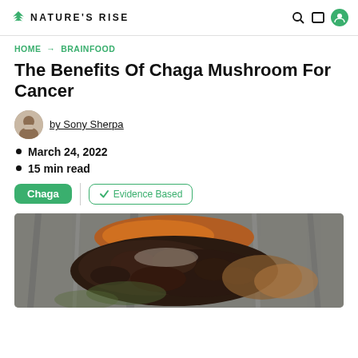NATURE'S RISE
HOME → BRAINFOOD
The Benefits Of Chaga Mushroom For Cancer
by Sony Sherpa
March 24, 2022
15 min read
Chaga | ✓ Evidence Based
[Figure (photo): Close-up photo of a Chaga mushroom growing on a tree trunk, showing dark bumpy fungal growth with brownish-orange inner flesh against grey bark]